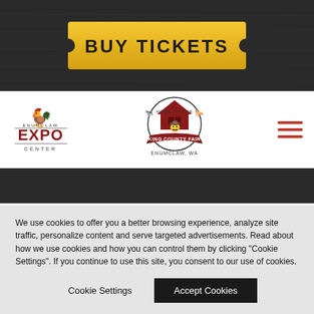[Figure (logo): BUY TICKETS button styled as a golden ticket stub on dark wood-textured background]
[Figure (logo): Enumclaw Expo Center logo (red rooster, EXPO text) and King County Fair circular logo with barn and animals, on white nav bar with red hamburger menu icon]
PRIVACY, TERMS & COOKIES
The Enumclaw Expo Center & King County Fair
We use cookies to offer you a better browsing experience, analyze site traffic, personalize content and serve targeted advertisements. Read about how we use cookies and how you can control them by clicking "Cookie Settings". If you continue to use this site, you consent to our use of cookies.